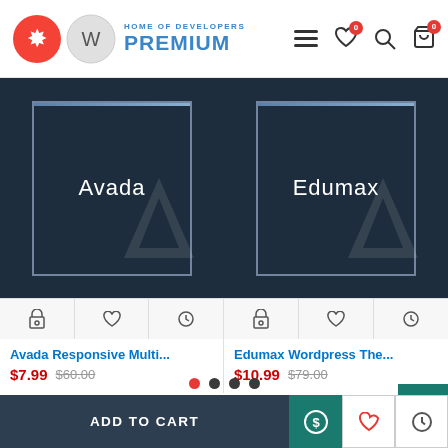[Figure (screenshot): Website header with Joomla and WordPress logos, 'HOME OF DEVELOPERS PREMIUM' text, hamburger menu, wishlist (0), search, and cart (0) icons]
[Figure (screenshot): Product card for 'Avada Responsive Multi...' showing dark themed product thumbnail with 'Avada' text, action buttons (cart, wishlist, compare), price $7.99 (was $60.00)]
[Figure (screenshot): Product card for 'Edumax Wordpress The...' showing dark themed product thumbnail with 'Edumax' text, action buttons (cart, wishlist, compare), price $10.99 (was $79.00)]
[Figure (screenshot): Carousel navigation dots: 4 dots, first is red (active), rest are dark gray]
YOU MIGHT LIKE    FROM THE SAME BRAND
[Figure (screenshot): Bottom product thumbnails partially visible: left purple/violet gradient, right dark theme]
[Figure (screenshot): Bottom bar: ADD TO CART button with teal S-icon, and right side wishlist and compare icon buttons]